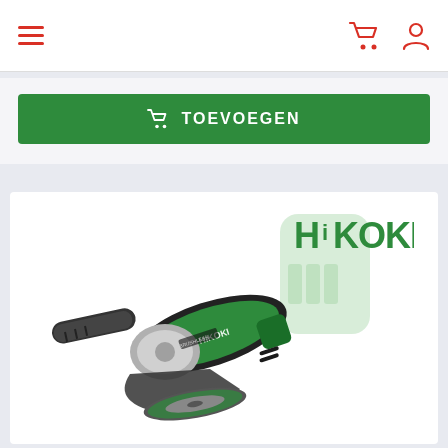Navigation bar with hamburger menu, cart icon, and user icon
TOEVOEGEN
[Figure (photo): HiKOKI cordless angle grinder in green and black, with grinding disc, shown without battery. The HiKOKI logo appears in green in the upper right of the product card.]